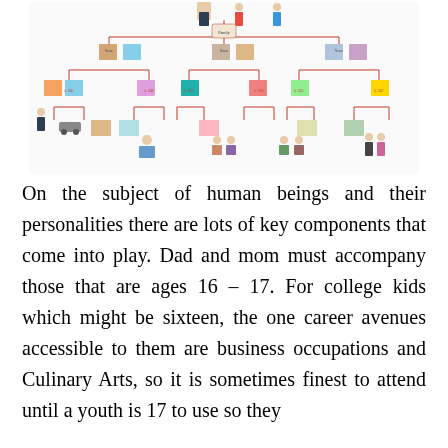[Figure (organizational-chart): A complex family tree / organizational chart with red connecting lines, small portrait photos, and text labels showing names and relationships across multiple generations.]
On the subject of human beings and their personalities there are lots of key components that come into play. Dad and mom must accompany those that are ages 16 – 17. For college kids which might be sixteen, the one career avenues accessible to them are business occupations and Culinary Arts, so it is sometimes finest to attend until a youth is 17 to use so they